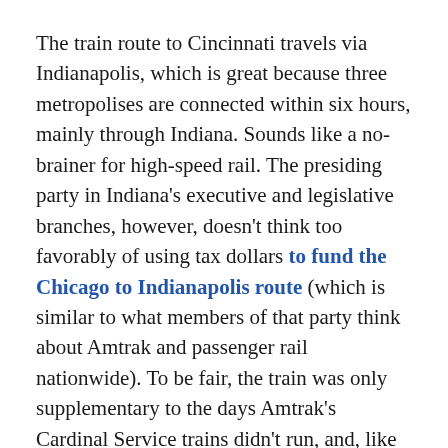The train route to Cincinnati travels via Indianapolis, which is great because three metropolises are connected within six hours, mainly through Indiana. Sounds like a no-brainer for high-speed rail. The presiding party in Indiana's executive and legislative branches, however, doesn't think too favorably of using tax dollars to fund the Chicago to Indianapolis route (which is similar to what members of that party think about Amtrak and passenger rail nationwide). To be fair, the train was only supplementary to the days Amtrak's Cardinal Service trains didn't run, and, like with many pass-through cities for Amtrak, didn't have a favorable schedule for riders. Thus, the only trains to Indianapolis are the ones that continue to Cincinnati. Although flying from Chicago to Indy isn't commonplace, the 16 flights per day indicate